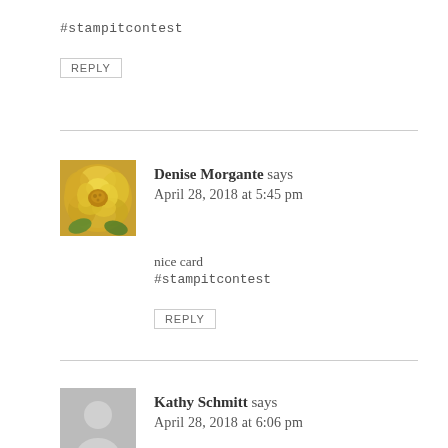#stampitcontest
REPLY
Denise Morgante says
April 28, 2018 at 5:45 pm
nice card
#stampitcontest
REPLY
Kathy Schmitt says
April 28, 2018 at 6:06 pm